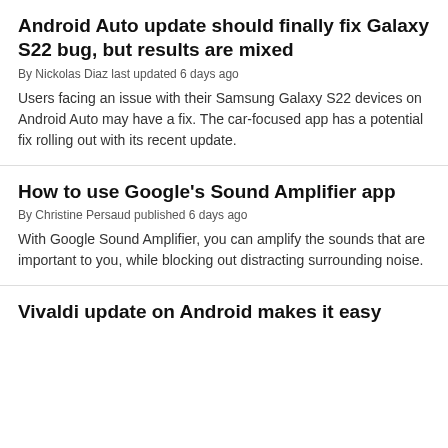Android Auto update should finally fix Galaxy S22 bug, but results are mixed
By Nickolas Diaz last updated 6 days ago
Users facing an issue with their Samsung Galaxy S22 devices on Android Auto may have a fix. The car-focused app has a potential fix rolling out with its recent update.
How to use Google's Sound Amplifier app
By Christine Persaud published 6 days ago
With Google Sound Amplifier, you can amplify the sounds that are important to you, while blocking out distracting surrounding noise.
Vivaldi update on Android makes it easy